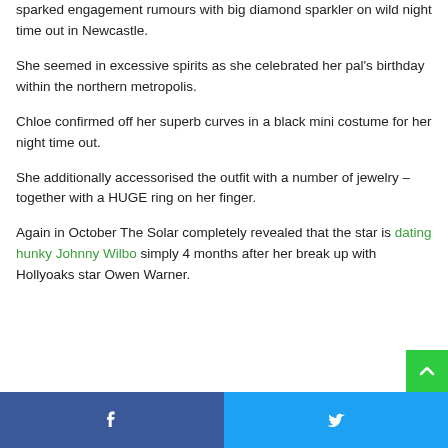sparked engagement rumours with big diamond sparkler on wild night time out in Newcastle.
She seemed in excessive spirits as she celebrated her pal's birthday within the northern metropolis.
Chloe confirmed off her superb curves in a black mini costume for her night time out.
She additionally accessorised the outfit with a number of jewelry – together with a HUGE ring on her finger.
Again in October The Solar completely revealed that the star is dating hunky Johnny Wilbo simply 4 months after her break up with Hollyoaks star Owen Warner.
Facebook share | Twitter share